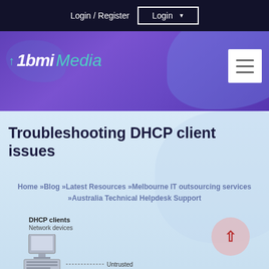Login / Register  Login
[Figure (logo): 1bmi Media logo with teal arrow icon and italic bold white/teal text on purple background]
Troubleshooting DHCP client issues
Home »Blog »Latest Resources »Melbourne IT outsourcing services »Australia Technical Helpdesk Support
[Figure (schematic): DHCP clients / Network devices diagram showing a computer workstation with 'Untrusted' label below]